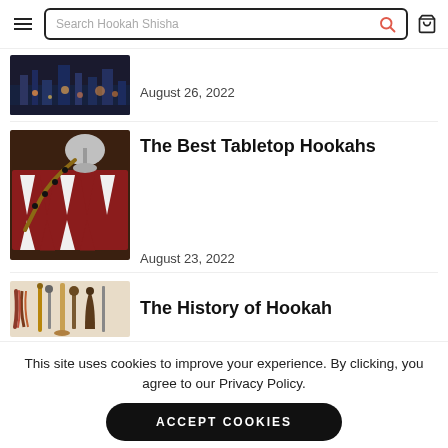Search Hookah Shisha
August 26, 2022
[Figure (photo): Aerial city night photo (partial, cropped at top)]
The Best Tabletop Hookahs
August 23, 2022
[Figure (photo): Hookah with hose resting on backgammon board]
The History of Hookah
[Figure (photo): Assorted hookah pipes and accessories on beige background]
This site uses cookies to improve your experience. By clicking, you agree to our Privacy Policy.
ACCEPT COOKIES